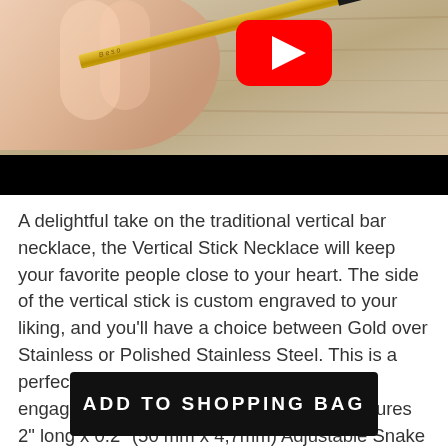[Figure (screenshot): YouTube video thumbnail showing a hand holding a gold vertical stick necklace/bar with a black tag on the end, over a light wood background. A YouTube play button overlay is visible.]
A delightful take on the traditional vertical bar necklace, the Vertical Stick Necklace will keep your favorite people close to your heart. The side of the vertical stick is custom engraved to your liking, and you'll have a choice between Gold over Stainless or Polished Stainless Steel. This is a perfect gift for graduations, weddings, engagements, and more. 4 Sided Bar measures 2" long x 0.2" (50 mm x 4,7mm) Adjustable Snake
ADD TO SHOPPING BAG